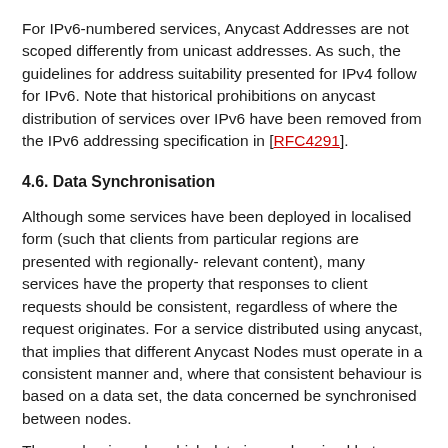For IPv6-numbered services, Anycast Addresses are not scoped differently from unicast addresses. As such, the guidelines for address suitability presented for IPv4 follow for IPv6. Note that historical prohibitions on anycast distribution of services over IPv6 have been removed from the IPv6 addressing specification in [RFC4291].
4.6. Data Synchronisation
Although some services have been deployed in localised form (such that clients from particular regions are presented with regionally- relevant content), many services have the property that responses to client requests should be consistent, regardless of where the request originates. For a service distributed using anycast, that implies that different Anycast Nodes must operate in a consistent manner and, where that consistent behaviour is based on a data set, the data concerned be synchronised between nodes.
The mechanisms by which data is synchronised between...